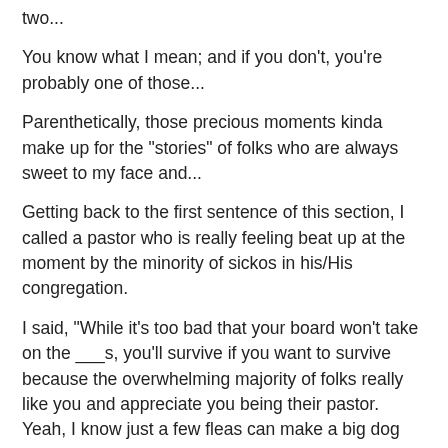two...
You know what I mean; and if you don't, you're probably one of those...
Parenthetically, those precious moments kinda make up for the "stories" of folks who are always sweet to my face and...
Getting back to the first sentence of this section, I called a pastor who is really feeling beat up at the moment by the minority of sickos in his/His congregation.
I said, "While it's too bad that your board won't take on the ___s, you'll survive if you want to survive because the overwhelming majority of folks really like you and appreciate you being their pastor. Yeah, I know just a few fleas can make a big dog itch; but that's no reason to cut and run. And if you need some inspiration for hanging in there, think about Jesus."
I don't know if that last line was very helpful; especially considering the, uh, crucifixion.